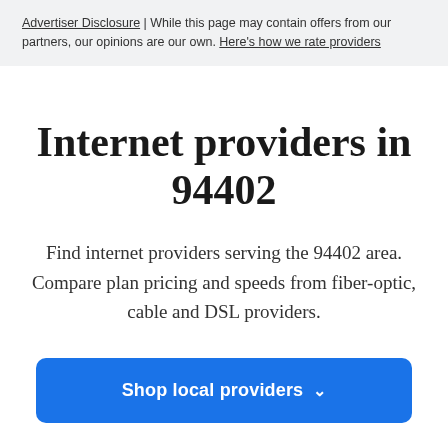Advertiser Disclosure | While this page may contain offers from our partners, our opinions are our own. Here's how we rate providers
Internet providers in 94402
Find internet providers serving the 94402 area. Compare plan pricing and speeds from fiber-optic, cable and DSL providers.
Shop local providers